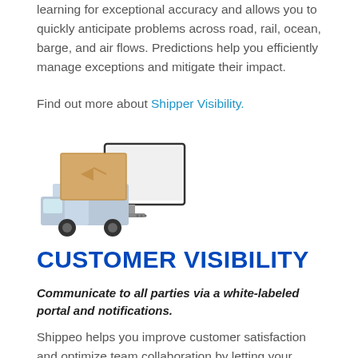Shippeo's proprietary ETA algorithm uses machine learning for exceptional accuracy and allows you to quickly anticipate problems across road, rail, ocean, barge, and air flows. Predictions help you efficiently manage exceptions and mitigate their impact.
Find out more about Shipper Visibility.
[Figure (illustration): Illustration of a delivery truck with a brown box package next to a computer monitor/laptop screen]
CUSTOMER VISIBILITY
Communicate to all parties via a white-labeled portal and notifications.
Shippeo helps you improve customer satisfaction and optimize team collaboration by letting your internal users